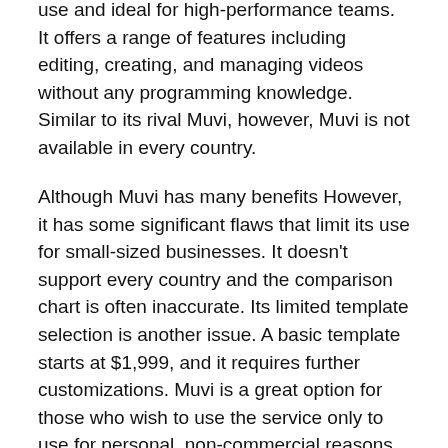use and ideal for high-performance teams. It offers a range of features including editing, creating, and managing videos without any programming knowledge. Similar to its rival Muvi, however, Muvi is not available in every country.
Although Muvi has many benefits However, it has some significant flaws that limit its use for small-sized businesses. It doesn’t support every country and the comparison chart is often inaccurate. Its limited template selection is another issue. A basic template starts at $1,999, and it requires further customizations. Muvi is a great option for those who wish to use the service only to use for personal, non-commercial reasons.